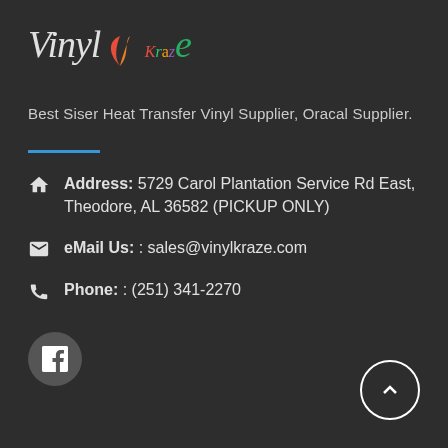VinylKraze
Best Siser Heat Transfer Vinyl Supplier, Oracal Supplier.
Address: 5729 Carol Plantation Service Rd East, Theodore, AL 36582 (PICKUP ONLY)
eMail Us: : sales@vinylkraze.com
Phone: : (251) 341-2270
[Figure (logo): Facebook icon button (circular grey background with white f)]
[Figure (other): Scroll-to-top button (circular outline with upward chevron)]